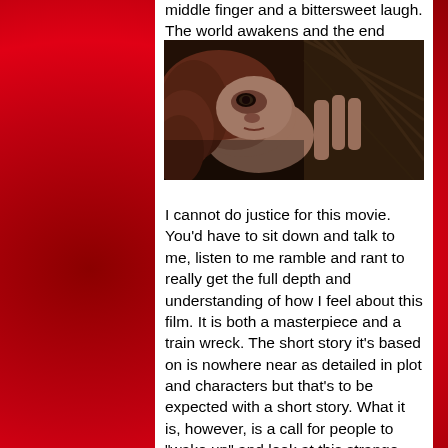middle finger and a bittersweet laugh. The world awakens and the end credits roll.
[Figure (photo): A movie still showing a person lying down with reddish-brown hair, looking upward, in a dark dramatic scene.]
I cannot do justice for this movie. You’d have to sit down and talk to me, listen to me ramble and rant to really get the full depth and understanding of how I feel about this film. It is both a masterpiece and a train wreck. The short story it’s based on is nowhere near as detailed in plot and characters but that’s to be expected with a short story. What it is, however, is a call for people to “wake up” and look at this strange, inhuman society that has been built around them while they “sleep.” Carpenter took this idea and ran with it, making the ghouls